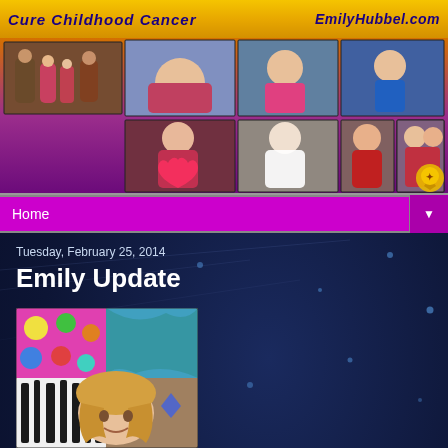Cure Childhood Cancer   EmilyHubbel.com
[Figure (photo): Photo collage of a young girl (Emily) at various stages, including hospital and play photos, arranged in a grid layout on a purple/magenta background]
Home
Tuesday, February 25, 2014
Emily Update
[Figure (photo): Photo of a young girl with blonde hair, lying down amid colorful patterned fabrics/pillows]